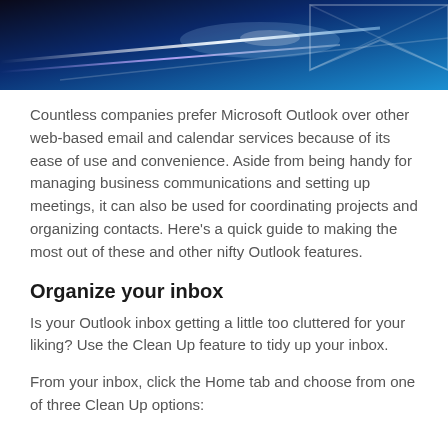[Figure (photo): Abstract blue technology/email themed header image with white geometric lines and glowing light streaks on a dark blue background]
Countless companies prefer Microsoft Outlook over other web-based email and calendar services because of its ease of use and convenience. Aside from being handy for managing business communications and setting up meetings, it can also be used for coordinating projects and organizing contacts. Here's a quick guide to making the most out of these and other nifty Outlook features.
Organize your inbox
Is your Outlook inbox getting a little too cluttered for your liking? Use the Clean Up feature to tidy up your inbox.
From your inbox, click the Home tab and choose from one of three Clean Up options: